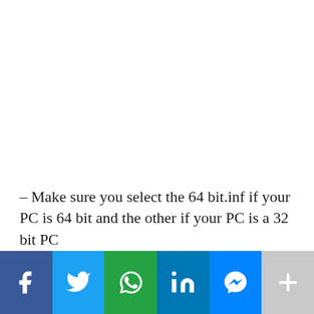– Make sure you select the 64 bit.inf if your PC is 64 bit and the other if your PC is a 32 bit PC
[Figure (infographic): Social media sharing bar with buttons for Facebook, Twitter, WhatsApp, LinkedIn, Messenger, and a More (+) button]